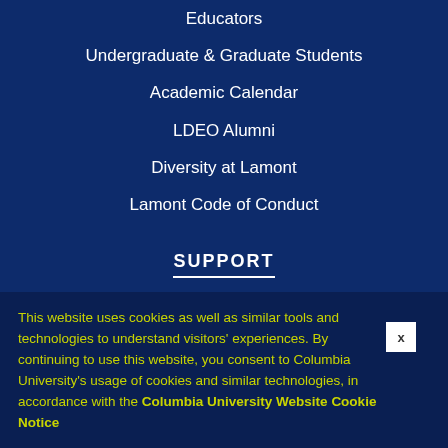Educators
Undergraduate & Graduate Students
Academic Calendar
LDEO Alumni
Diversity at Lamont
Lamont Code of Conduct
SUPPORT
Ways to Give
Development Staff Directory
This website uses cookies as well as similar tools and technologies to understand visitors' experiences. By continuing to use this website, you consent to Columbia University's usage of cookies and similar technologies, in accordance with the Columbia University Website Cookie Notice